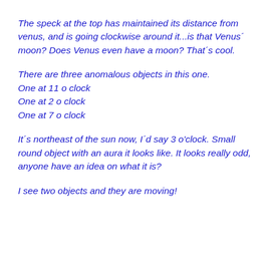The speck at the top has maintained its distance from venus, and is going clockwise around it...is that Venus´ moon? Does Venus even have a moon? That´s cool.
There are three anomalous objects in this one.
One at 11 o clock
One at 2 o clock
One at 7 o clock
It´s northeast of the sun now, I´d say 3 o'clock. Small round object with an aura it looks like. It looks really odd, anyone have an idea on what it is?
I see two objects and they are moving!